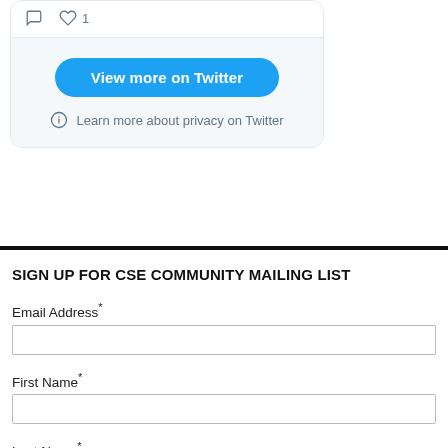[Figure (screenshot): Twitter widget showing comment and heart icons at top, a blue 'View more on Twitter' button, and a 'Learn more about privacy on Twitter' link with info icon, on a light gray background]
SIGN UP FOR CSE COMMUNITY MAILING LIST
Email Address*
First Name*
Last Name*